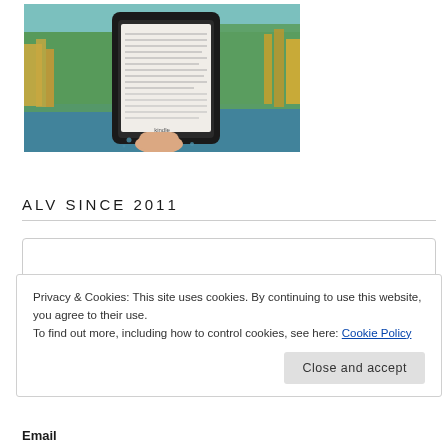[Figure (photo): A hand holding a Kindle e-reader displaying text pages, outdoors near water with lush green vegetation in background]
ALV SINCE 2011
Select Month
Privacy & Cookies: This site uses cookies. By continuing to use this website, you agree to their use.
To find out more, including how to control cookies, see here: Cookie Policy
Close and accept
Email